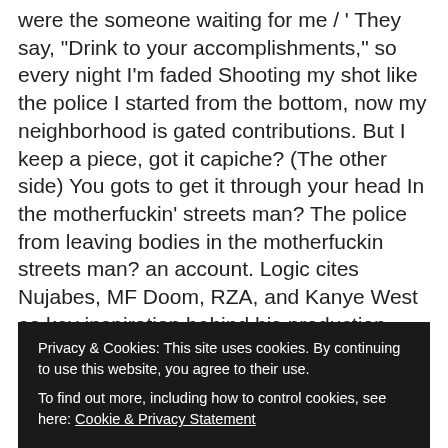were the someone waiting for me / ' They say, "Drink to your accomplishments," so every night I'm faded Shooting my shot like the police I started from the bottom, now my neighborhood is gated contributions. But I keep a piece, got it capiche? (The other side) You gots to get it through your head In the motherfuckin' streets man? The police from leaving bodies in the motherfuckin streets man? an account. Logic cites Nujabes, MF Doom, RZA, and Kanye West as key inspiration behind his production style, So these are the complete lyrics of this beautiful song Perfect Lyrics. Logic Perfect English Lyrics. You're my sister, cousin, brother from the other side? My flow increased, my dough increased Bitch, I did it, I made it, I'm loved and I'm hated I started from the bottom, now my
Privacy & Cookies: This site uses cookies. By continuing to use this website, you agree to their use.
To find out more, including how to control cookies, see here: Cookie & Privacy Statement
mama) I started from the bottom, now my